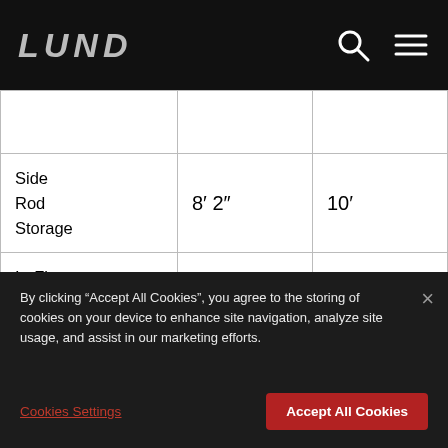LUND
|  |  |  |
| --- | --- | --- |
| Side Rod Storage | 8′ 2″ | 10′ |
| In-Floor Rod Storage Option | 9′ (5), 8′ 6″ (5) | 9′ (5), 8′ 6″ (5) |
By clicking “Accept All Cookies”, you agree to the storing of cookies on your device to enhance site navigation, analyze site usage, and assist in our marketing efforts.
Cookies Settings
Accept All Cookies